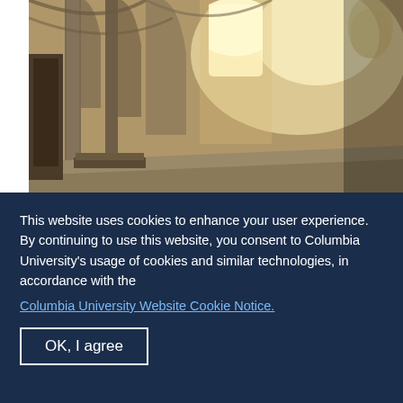[Figure (photo): Interior of Église Saint-Père-en-Vallée de Chartres showing Gothic arched nave, chevet, north ambulatory. Stone columns, arched windows with light streaming in.]
Église Saint-Père-en-Vallée de Chartres
Interior, chevet, north ambulatory looking...
[Figure (photo): Partial photo visible at bottom of card, dark interior showing curved stone ceiling/vault, partially cropped.]
This website uses cookies to enhance your user experience. By continuing to use this website, you consent to Columbia University's usage of cookies and similar technologies, in accordance with the
Columbia University Website Cookie Notice.
OK, I agree